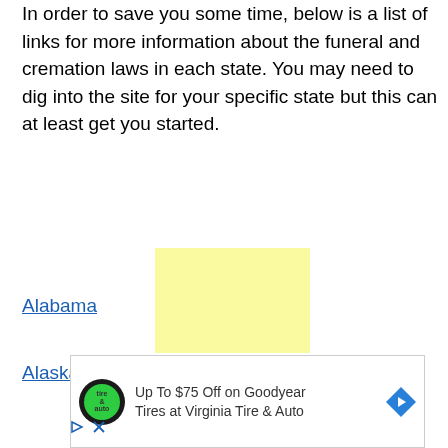In order to save you some time, below is a list of links for more information about the funeral and cremation laws in each state. You may need to dig into the site for your specific state but this can at least get you started.
Alabama
Alaska
[Figure (other): Yellow advertisement placeholder box]
[Figure (other): Advertisement banner: Up To $75 Off on Goodyear Tires at Virginia Tire & Auto, with Tire & Auto logo and blue diamond navigation icon]